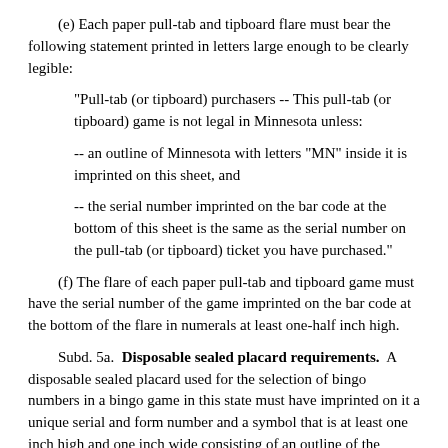(e) Each paper pull-tab and tipboard flare must bear the following statement printed in letters large enough to be clearly legible:
"Pull-tab (or tipboard) purchasers -- This pull-tab (or tipboard) game is not legal in Minnesota unless:
-- an outline of Minnesota with letters "MN" inside it is imprinted on this sheet, and
-- the serial number imprinted on the bar code at the bottom of this sheet is the same as the serial number on the pull-tab (or tipboard) ticket you have purchased."
(f) The flare of each paper pull-tab and tipboard game must have the serial number of the game imprinted on the bar code at the bottom of the flare in numerals at least one-half inch high.
Subd. 5a. Disposable sealed placard requirements. A disposable sealed placard used for the selection of bingo numbers in a bingo game in this state must have imprinted on it a unique serial and form number and a symbol that is at least one inch high and one inch wide consisting of an outline of the geographic boundaries of Minnesota with the letters